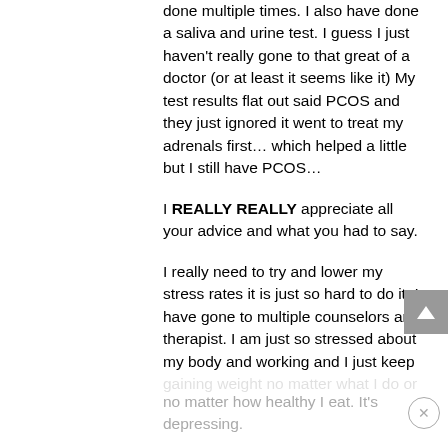done multiple times. I also have done a saliva and urine test. I guess I just haven't really gone to that great of a doctor (or at least it seems like it) My test results flat out said PCOS and they just ignored it went to treat my adrenals first… which helped a little but I still have PCOS…
I REALLY REALLY appreciate all your advice and what you had to say.
I really need to try and lower my stress rates it is just so hard to do it. I have gone to multiple counselors and therapist. I am just so stressed about my body and working and I just keep gaining weight no matter what I do or
no matter how healthy I eat. It's depressing.